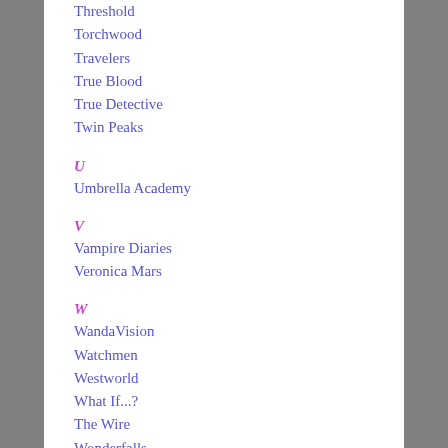Threshold
Torchwood
Travelers
True Blood
True Detective
Twin Peaks
U
Umbrella Academy
V
Vampire Diaries
Veronica Mars
W
WandaVision
Watchmen
Westworld
What If...?
The Wire
Wonderfalls
X
The X-Files